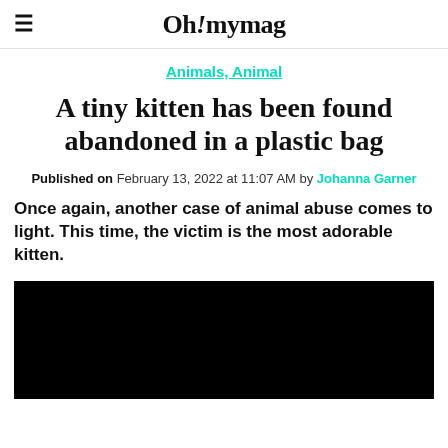Oh! mymag
Animals, Animal
A tiny kitten has been found abandoned in a plastic bag
Published on February 13, 2022 at 11:07 AM by Johanna Garner
Once again, another case of animal abuse comes to light. This time, the victim is the most adorable kitten.
[Figure (photo): Black image placeholder for article photo]